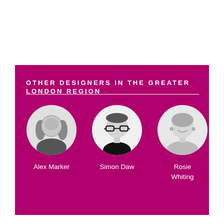OTHER DESIGNERS IN THE GREATER LONDON REGION
[Figure (photo): Circular black-and-white portrait photo of Alex Marker, a person with long hair]
Alex Marker
[Figure (photo): Circular black-and-white portrait photo of Simon Daw, a person wearing glasses]
Simon Daw
[Figure (photo): Circular black-and-white portrait photo of Rosie Whiting, a smiling person with earrings]
Rosie Whiting